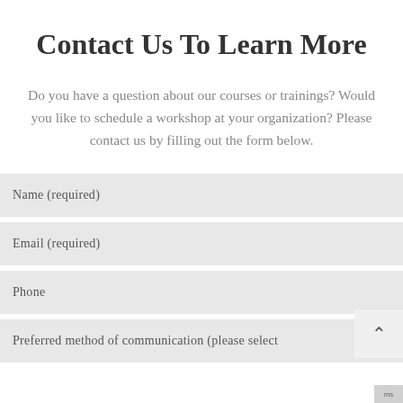Contact Us To Learn More
Do you have a question about our courses or trainings? Would you like to schedule a workshop at your organization? Please contact us by filling out the form below.
Name (required)
Email (required)
Phone
Preferred method of communication (please select